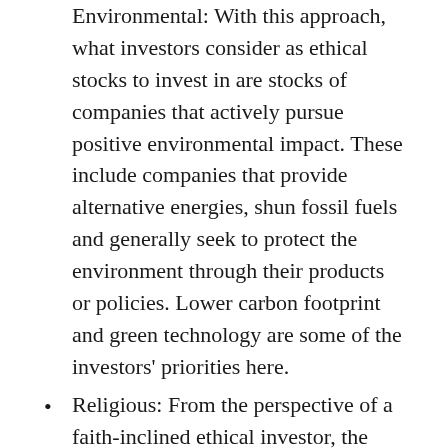Environmental: With this approach, what investors consider as ethical stocks to invest in are stocks of companies that actively pursue positive environmental impact. These include companies that provide alternative energies, shun fossil fuels and generally seek to protect the environment through their products or policies. Lower carbon footprint and green technology are some of the investors' priorities here.
Religious: From the perspective of a faith-inclined ethical investor, the most ethical companies to invest in are those that support their religious values or, at least, do not contradict them. Faith-inclined ethical investing seeks to avoid sin stocks—companies that enable immoral or unethical activities. These may include investments in firearms, tobacco